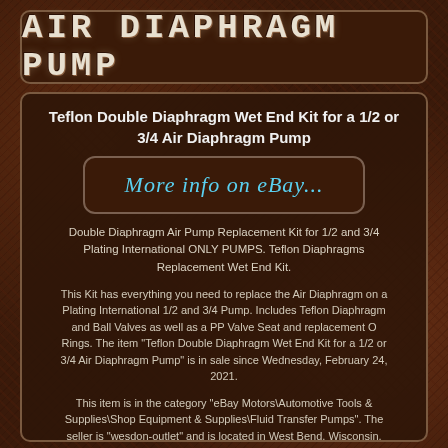AIR DIAPHRAGM PUMP
Teflon Double Diaphragm Wet End Kit for a 1/2 or 3/4 Air Diaphragm Pump
[Figure (other): More info on eBay... button/link]
Double Diaphragm Air Pump Replacement Kit for 1/2 and 3/4 Plating International ONLY PUMPS. Teflon Diaphragms Replacement Wet End Kit.
This Kit has everything you need to replace the Air Diaphragm on a Plating International 1/2 and 3/4 Pump. Includes Teflon Diaphragm and Ball Valves as well as a PP Valve Seat and replacement O Rings. The item "Teflon Double Diaphragm Wet End Kit for a 1/2 or 3/4 Air Diaphragm Pump" is in sale since Wednesday, February 24, 2021.
This item is in the category "eBay Motors\Automotive Tools & Supplies\Shop Equipment & Supplies\Fluid Transfer Pumps". The seller is "wesdon-outlet" and is located in West Bend, Wisconsin. This item can be shipped to United States, Canada, United